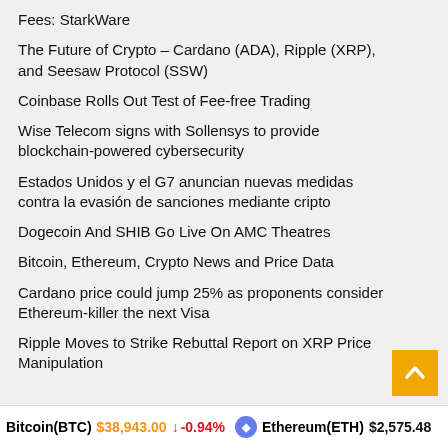Fees: StarkWare
The Future of Crypto – Cardano (ADA), Ripple (XRP), and Seesaw Protocol (SSW)
Coinbase Rolls Out Test of Fee-free Trading
Wise Telecom signs with Sollensys to provide blockchain-powered cybersecurity
Estados Unidos y el G7 anuncian nuevas medidas contra la evasión de sanciones mediante cripto
Dogecoin And SHIB Go Live On AMC Theatres
Bitcoin, Ethereum, Crypto News and Price Data
Cardano price could jump 25% as proponents consider Ethereum-killer the next Visa
Ripple Moves to Strike Rebuttal Report on XRP Price Manipulation
Bitcoin(BTC) $38,943.00 ↓ -0.94%   Ethereum(ETH) $2,575.48